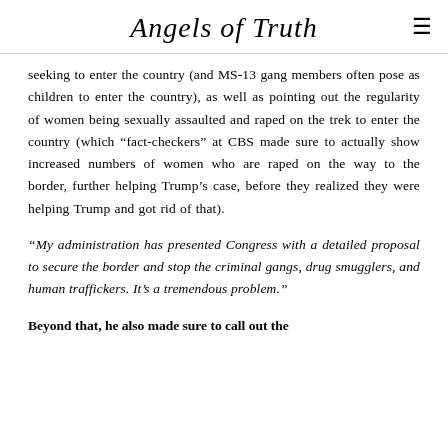Angels of Truth
seeking to enter the country (and MS-13 gang members often pose as children to enter the country), as well as pointing out the regularity of women being sexually assaulted and raped on the trek to enter the country (which “fact-checkers” at CBS made sure to actually show increased numbers of women who are raped on the way to the border, further helping Trump’s case, before they realized they were helping Trump and got rid of that).
“My administration has presented Congress with a detailed proposal to secure the border and stop the criminal gangs, drug smugglers, and human traffickers. It’s a tremendous problem.”
Beyond that, he also made sure to call out the